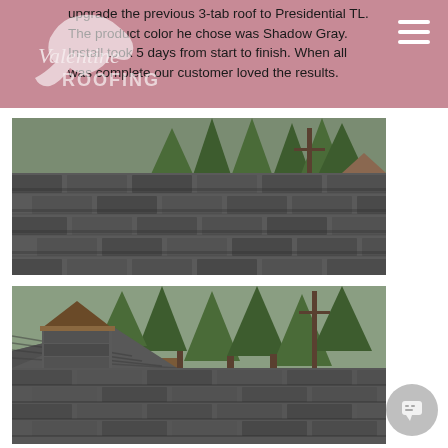upgrade the previous 3-tab roof to Presidential TL. The product color he chose was Shadow Gray. Install took 5 days from start to finish. When all was complete our customer loved the results.
[Figure (photo): Close-up photo of a newly installed Shadow Gray Presidential TL shingle roof with dark gray architectural shingles, surrounded by green conifer trees in the background.]
[Figure (photo): Another angle of the completed Shadow Gray Presidential TL shingle roof installation showing roof peaks and dormers against a backdrop of tall evergreen trees.]